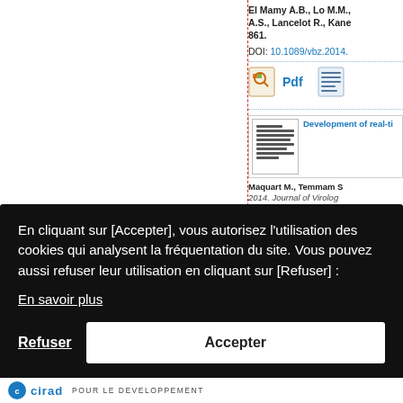El Mamy A.B., Lo M.M., A.S., Lancelot R., Kane 861.
DOI: 10.1089/vbz.2014.
[Figure (other): PDF icon and document icon with Pdf label]
[Figure (other): Thumbnail of document page]
Development of real-ti
Maquart M., Temmam S 2014. Journal of Virolog
6/j.jviromet.
aemorrhagi risk factors
ah C., Roge eterinary Mic
6/j.vetmic.20
Site du Annua
En cliquant sur [Accepter], vous autorisez l'utilisation des cookies qui analysent la fréquentation du site. Vous pouvez aussi refuser leur utilisation en cliquant sur [Refuser] :
En savoir plus
Refuser
Accepter
cirad POUR LE DEVELOPPEMENT